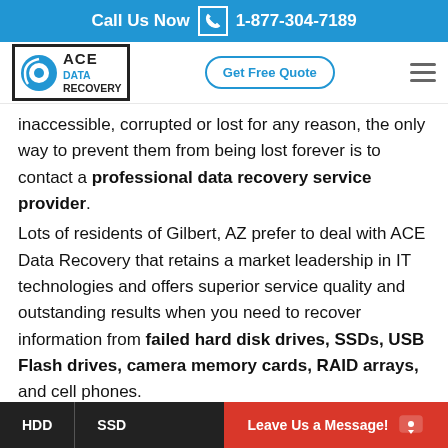Call Us Now 1-877-304-7189
[Figure (logo): ACE Data Recovery logo with circular icon and bordered text]
inaccessible, corrupted or lost for any reason, the only way to prevent them from being lost forever is to contact a professional data recovery service provider.
Lots of residents of Gilbert, AZ prefer to deal with ACE Data Recovery that retains a market leadership in IT technologies and offers superior service quality and outstanding results when you need to recover information from failed hard disk drives, SSDs, USB Flash drives, camera memory cards, RAID arrays, and cell phones.
HDD   SSD   Leave Us a Message!